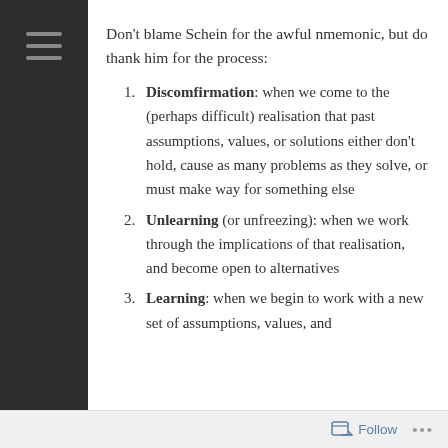Don't blame Schein for the awful nmemonic, but do thank him for the process:
Discomfirmation: when we come to the (perhaps difficult) realisation that past assumptions, values, or solutions either don't hold, cause as many problems as they solve, or must make way for something else
Unlearning (or unfreezing): when we work through the implications of that realisation, and become open to alternatives
Learning: when we begin to work with a new set of assumptions, values, and
Follow ...